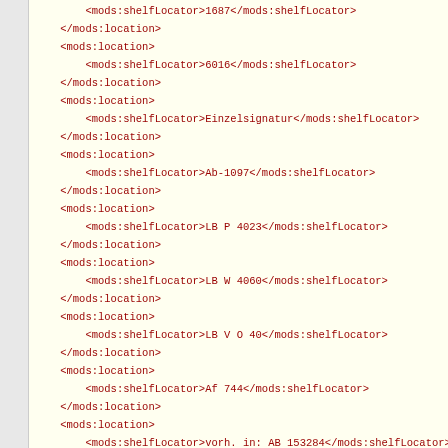XML code snippet showing mods:location and mods:shelfLocator elements with values: 1687, 6016, Einzelsignatur, Ab-1097, LB P 4023, LB W 4060, LB V O 40, Af 744, vorh. in: AB 153284, 610/AZ 15075, KM Zs 222, (XXII 21), Zs 2953, Kb 207, Z 422, and a partial mods:location